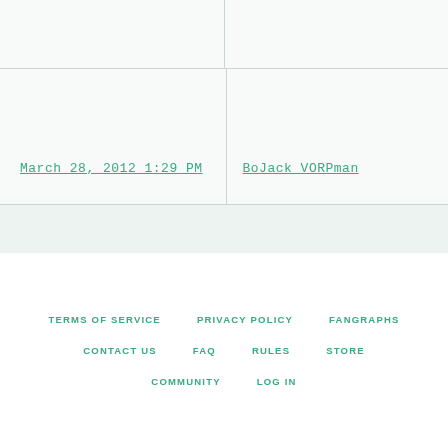| March 28, 2012 1:29 PM | BoJack VORPman |
TERMS OF SERVICE  PRIVACY POLICY  FANGRAPHS  CONTACT US  FAQ  RULES  STORE  COMMUNITY  LOG IN